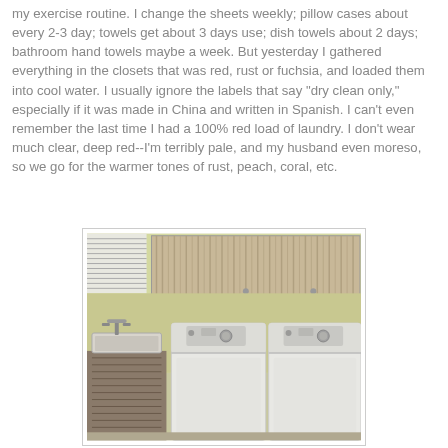my exercise routine. I change the sheets weekly; pillow cases about every 2-3 day; towels get about 3 days use; dish towels about 2 days; bathroom hand towels maybe a week. But yesterday I gathered everything in the closets that was red, rust or fuchsia, and loaded them into cool water. I usually ignore the labels that say "dry clean only," especially if it was made in China and written in Spanish. I can't even remember the last time I had a 100% red load of laundry. I don't wear much clear, deep red--I'm terribly pale, and my husband even moreso, so we go for the warmer tones of rust, peach, coral, etc.
[Figure (photo): Photo of a laundry room showing a utility sink with faucet on the left, two white top-load washing machines/dryers in the center and right, and wooden cabinets mounted on the wall above. The wall is painted light green/yellow.]